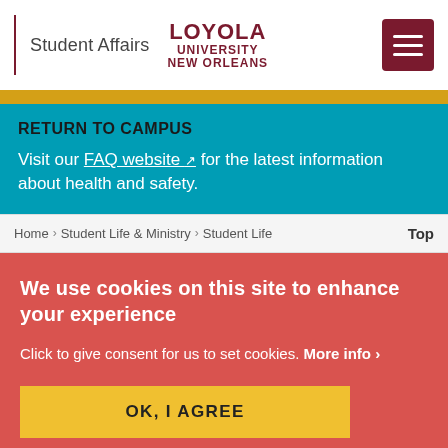Student Affairs | LOYOLA UNIVERSITY NEW ORLEANS
RETURN TO CAMPUS
Visit our FAQ website for the latest information about health and safety.
Home > Student Life & Ministry > Student Life
We use cookies on this site to enhance your experience
Click to give consent for us to set cookies. More info >
OK, I AGREE